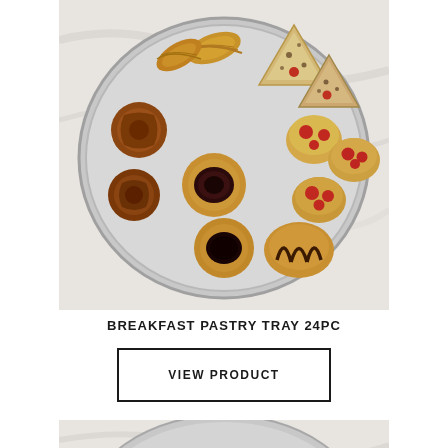[Figure (photo): A round silver tray filled with assorted breakfast pastries including croissants, scones, muffins, chocolate-drizzled pastries, and fruit-filled pastries, displayed on a marble surface.]
BREAKFAST PASTRY TRAY 24PC
VIEW PRODUCT
[Figure (photo): Partial view of another food tray on a marble surface, showing the top portion of a round tray with sandwiches or other food items.]